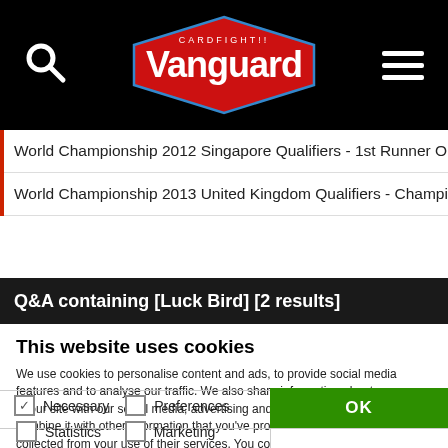[Figure (screenshot): Cardfight Vanguard website header with black background, search icon on left, Vanguard logo in center, hamburger menu on right]
World Championship 2012 Singapore Qualifiers - 1st Runner Op, W
World Championship 2013 United Kingdom Qualifiers - Champion,
Q&A containing [Luck Bird] [2 results]
This website uses cookies
We use cookies to personalise content and ads, to provide social media features and to analyse our traffic. We also share information about your use of our site with our social media, advertising and analytics partners who may combine it with other information that you've provided to them or that they've collected from your use of their services. You consent to our cookies if you continue to use our website.
OK
Necessary  Preferences  Statistics  Marketing  Show details